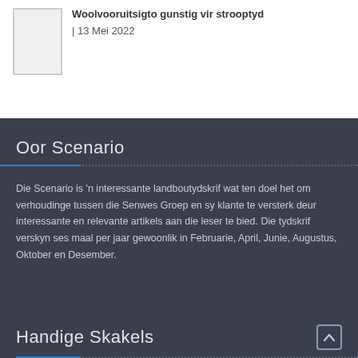Woolvooruitsigto gunstig vir strooptyd | 13 Mei 2022
Oor Scenario
Die Scenario is 'n interessante landboutydskrif wat ten doel het om verhoudinge tussen die Senwes Groep en sy klante te versterk deur interessante en relevante artikels aan die leser te bied. Die tydskrif verskyn ses maal per jaar gewoonlik in Februarie, April, Junie, Augustus, Oktober en Desember.
Handige Skakels